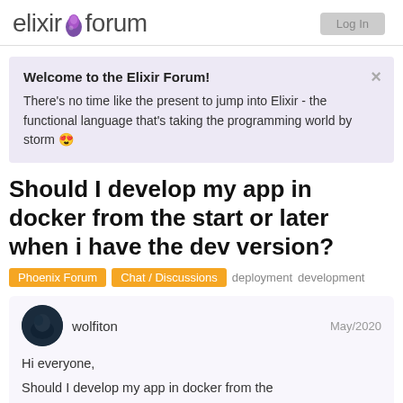elixir forum
Welcome to the Elixir Forum!
There's no time like the present to jump into Elixir - the functional language that's taking the programming world by storm 😍
Should I develop my app in docker from the start or later when i have the dev version?
Phoenix Forum  Chat / Discussions  deployment  development
wolfiton  May/2020
Hi everyone,
1 / 16